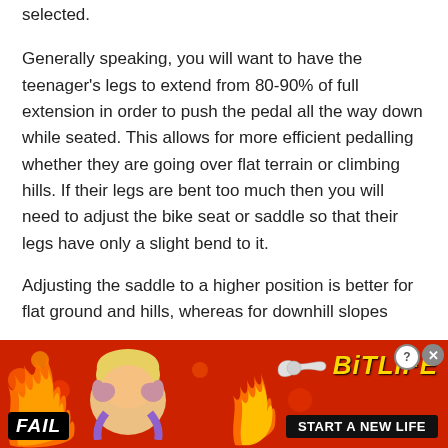selected.
Generally speaking, you will want to have the teenager's legs to extend from 80-90% of full extension in order to push the pedal all the way down while seated. This allows for more efficient pedalling whether they are going over flat terrain or climbing hills. If their legs are bent too much then you will need to adjust the bike seat or saddle so that their legs have only a slight bend to it.
Adjusting the saddle to a higher position is better for flat ground and hills, whereas for downhill slopes
[Figure (other): Advertisement banner for BitLife mobile game with red/fire background, FAIL badge, cartoon character, flame graphics, sperm icon, BitLife logo in yellow italic text, and START A NEW LIFE button]